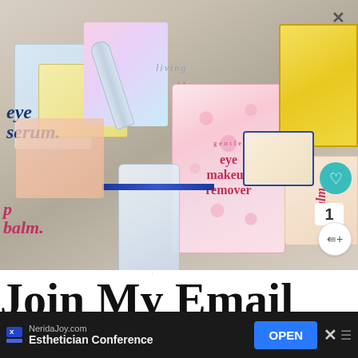[Figure (photo): Flatlay photo of colorful skincare/cosmetics products including eye serum, eye makeup remover with pink floral packaging, lip balm, and other beauty items arranged on a light surface. UI elements visible: X close button, heart/like button, count badge (1), share button.]
WHAT'S NEXT →
Life Lately- Living...
Join My Email
NeridaJoy.com
Esthetician Conference
OPEN